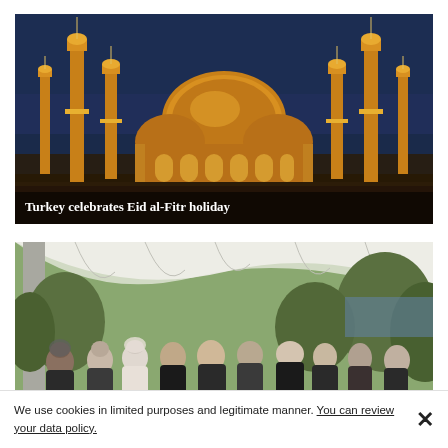[Figure (photo): Illuminated mosque (Blue Mosque / Sultan Ahmed Mosque) at night with glowing minarets against a dark blue sky in Istanbul, Turkey]
Turkey celebrates Eid al-Fitr holiday
[Figure (photo): Outdoor gathering of people under white draped fabric canopy surrounded by green foliage, showing a crowd of women and men at what appears to be an Eid celebration]
We use cookies in limited purposes and legitimate manner. You can review your data policy.